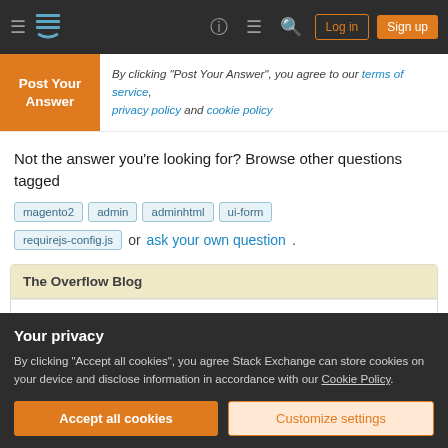Navigation bar with hamburger menu, Stack Overflow logo, help, chat, search icons, Log in and Sign up buttons
Post Your Answer - By clicking "Post Your Answer", you agree to our terms of service, privacy policy and cookie policy
Not the answer you're looking for? Browse other questions tagged magento2 admin adminhtml ui-form requirejs-config.js or ask your own question.
The Overflow Blog
Functional programming is an ideal fit for developing
Your privacy
By clicking "Accept all cookies", you agree Stack Exchange can store cookies on your device and disclose information in accordance with our Cookie Policy.
Accept all cookies | Customize settings